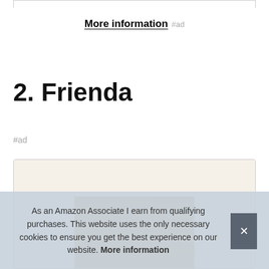More information #ad
2. Frienda
#ad
[Figure (photo): Product image of a wooden item inside a card with border]
As an Amazon Associate I earn from qualifying purchases. This website uses the only necessary cookies to ensure you get the best experience on our website. More information